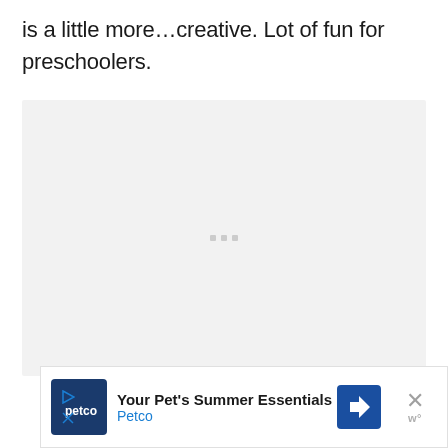is a little more…creative. Lot of fun for preschoolers.
[Figure (other): Gray loading placeholder box with three small gray dots/dashes centered inside, indicating an advertisement or image loading area.]
[Figure (other): Advertisement banner for Petco: 'Your Pet's Summer Essentials' with Petco logo (dark blue square with white petco text and play arrow), a blue diamond navigation icon, and a close X button with 'w°' branding mark. There are also small play/close icons at the bottom left.]